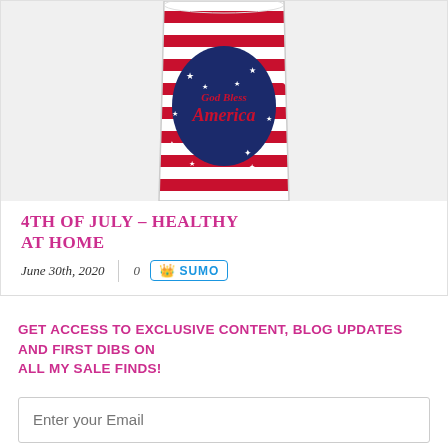[Figure (photo): A patriotic tumbler cup with an American flag design featuring red and white stripes, white stars on navy blue, and a navy blue US map shape in the center with 'God Bless America' written in red script lettering.]
4TH OF JULY – HEALTHY AT HOME
June 30th, 2020 | 0 Comments
GET ACCESS TO EXCLUSIVE CONTENT, BLOG UPDATES AND FIRST DIBS ON ALL MY SALE FINDS!
Enter your Email
GET ACCESS